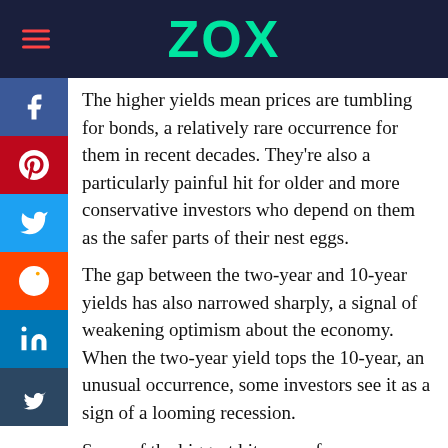ZOX
The higher yields mean prices are tumbling for bonds, a relatively rare occurrence for them in recent decades. They’re also a particularly painful hit for older and more conservative investors who depend on them as the safer parts of their nest eggs.
The gap between the two-year and 10-year yields has also narrowed sharply, a signal of weakening optimism about the economy. When the two-year yield tops the 10-year, an unusual occurrence, some investors see it as a sign of a looming recession.
Some of the biggest hits came for cryptocurrencies, which soared early in the pandemic as ultralow rates encouraged some investors to pile into the riskiest investments. Bitcoin tumbled more than 14 per cent from a day earlier and dropped below US$23,400